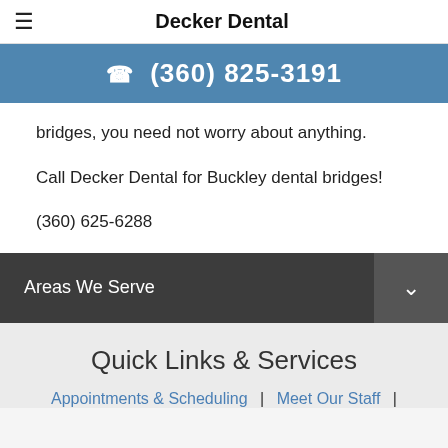Decker Dental
☎ (360) 825-3191
bridges, you need not worry about anything.
Call Decker Dental for Buckley dental bridges!
(360) 625-6288
Areas We Serve
Quick Links & Services
Appointments & Scheduling | Meet Our Staff |